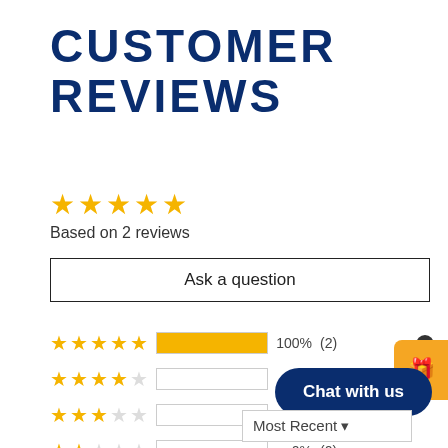CUSTOMER REVIEWS
[Figure (other): 5 gold star rating icons]
Based on 2 reviews
Ask a question
[Figure (bar-chart): Rating distribution]
Chat with us
Most Recent